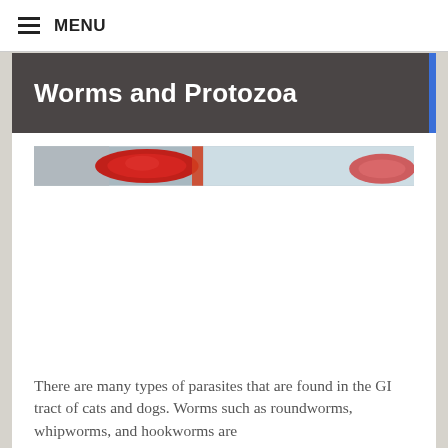MENU
Worms and Protozoa
[Figure (photo): Close-up photo of red parasites or blood cells against a light blue background]
There are many types of parasites that are found in the GI tract of cats and dogs. Worms such as roundworms, whipworms, and hookworms are